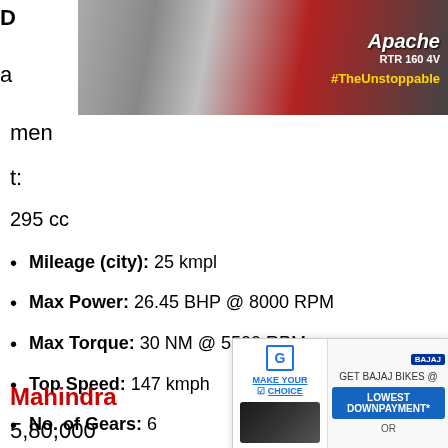[Figure (photo): TVS Apache RTR 160 4V motorcycle advertisement banner with #TheUnstoppable hashtag and red/grey design]
D
a
men
t:
295 cc
Mileage (city): 25 kmpl
Max Power: 26.45 BHP @ 8000 RPM
Max Torque: 30 NM @ 5500 RPM
Top Speed: 147 kmph
No. of Gears: 6
Fuel tank capacity: 21 liters
Weig...
Mahindra
5,80,000
[Figure (photo): Bajaj bikes advertisement overlay - MAKE YOUR CHOICE, GET BAJAJ BIKES @ LOWEST DOWNPAYMENT* OR]